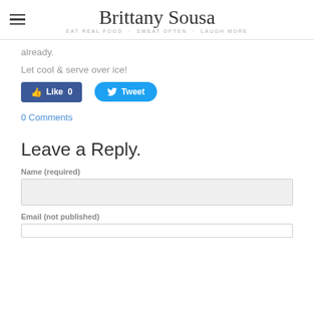Brittany Sousa — EAT REAL FOOD · SWEAT OFTEN · LAUGH MORE
already.
Let cool & serve over ice!
[Figure (other): Facebook Like button (count: 0) and Twitter Tweet button]
0 Comments
Leave a Reply.
Name (required)
Email (not published)